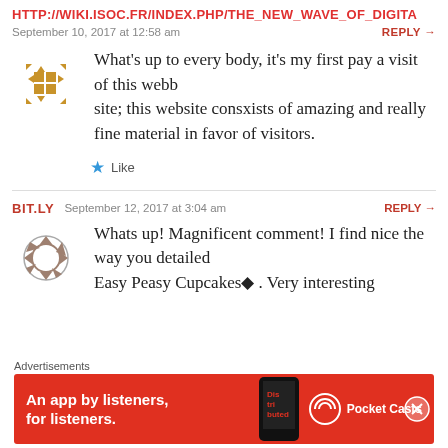HTTP://WIKI.ISOC.FR/INDEX.PHP/THE_NEW_WAVE_OF_DIGITA
September 10, 2017 at 12:58 am
REPLY →
What's up to every body, it's my first pay a visit of this webb site; this website consxists of amazing and really fine material in favor of visitors.
Like
BIT.LY  September 12, 2017 at 3:04 am  REPLY →
Whats up! Magnificent comment! I find nice the way you detailed Easy Peasy Cupcakes◆ . Very interesting
Advertisements
[Figure (other): Pocket Casts advertisement banner: red background with text 'An app by listeners, for listeners.' and Pocket Casts logo with a phone image]